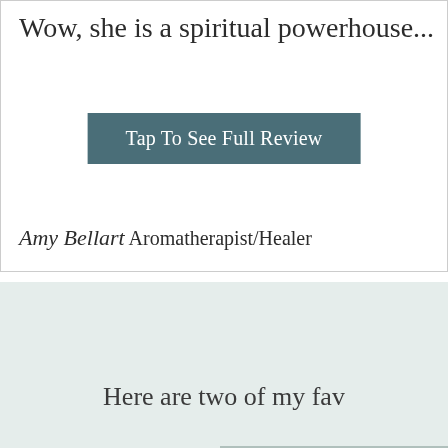Wow, she is a spiritual powerhouse...
Tap To See Full Review
Amy Bellart Aromatherapist/Healer
Here are two of my fav